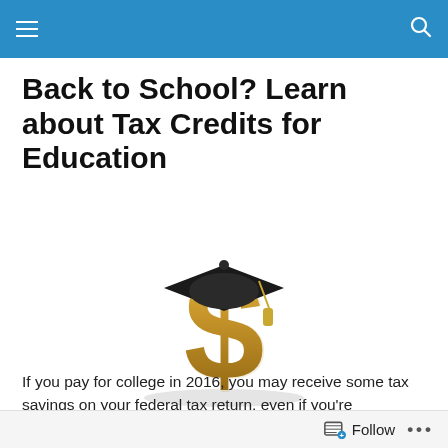Back to School? Learn about Tax Credits for Education
[Figure (illustration): A golden dollar sign symbol wearing a black graduation cap with a gold tassel, set against a light background.]
If you pay for college in 2016, you may receive some tax savings on your federal tax return, even if you're studying
Follow ...